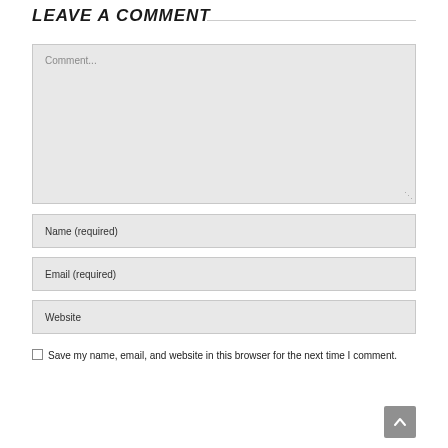LEAVE A COMMENT
Comment...
Name (required)
Email (required)
Website
Save my name, email, and website in this browser for the next time I comment.